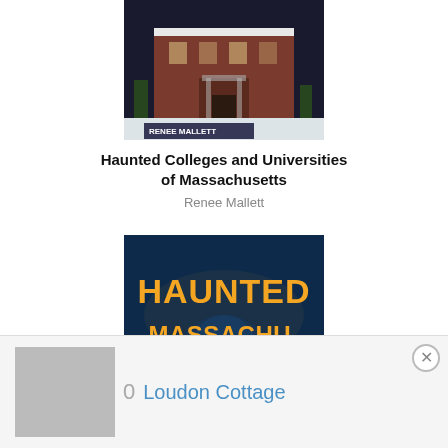[Figure (photo): Book cover: Haunted Colleges and Universities of Massachusetts by Renee Mallett — shows a red brick building in winter snow with the author name on the cover]
Haunted Colleges and Universities of Massachusetts
Renee Mallett
[Figure (photo): Book cover: Haunted Massachusetts — Ghosts and Strange Phenomena of the Bay State by Cheri Revai — dark blue cover with glowing orange title text and a shadowy figure]
Haunted Massachusetts: Ghosts and Strange Phenomena of the Bay State
Cheri Revai
[Figure (screenshot): Bottom bar showing a thumbnail image, a 0, and the text 'Loudon Cottage' in blue, with an X close button]